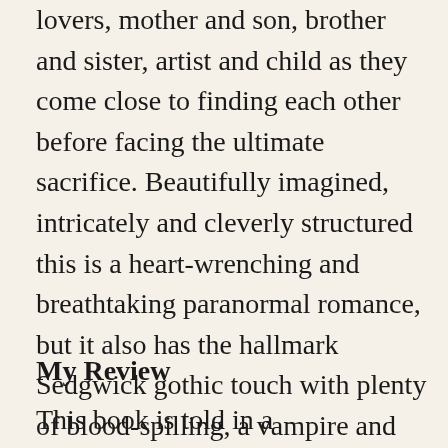lovers, mother and son, brother and sister, artist and child as they come close to finding each other before facing the ultimate sacrifice. Beautifully imagined, intricately and cleverly structured this is a heart-wrenching and breathtaking paranormal romance, but it also has the hallmark Sedgwick gothic touch with plenty of blood-spilling, a vampire and sacrifice.
My Review
This book is told in a